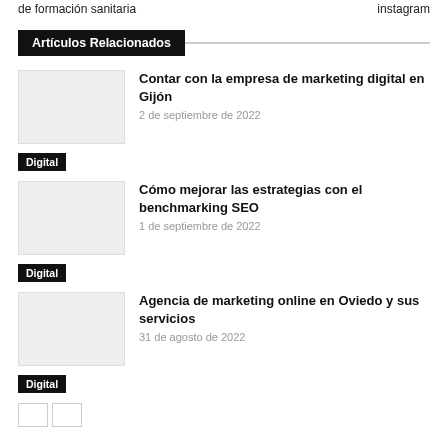de formación sanitaria   instagram
Artículos Relacionados
Contar con la empresa de marketing digital en Gijón
2 de septiembre de 2022
Digital
Cómo mejorar las estrategias con el benchmarking SEO
1 de septiembre de 2022
Digital
Agencia de marketing online en Oviedo y sus servicios
31 de agosto de 2022
Digital